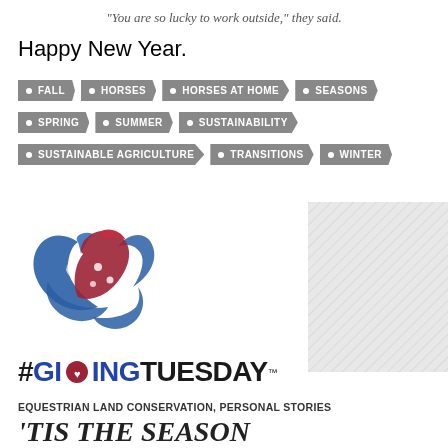"You are so lucky to work outside," they said.
Happy New Year.
FALL
HORSES
HORSES AT HOME
SEASONS
SPRING
SUMMER
SUSTAINABILITY
SUSTAINABLE AGRICULTURE
TRANSITIONS
WINTER
[Figure (logo): #GivingTuesday logo with heart made of blue and red ribbons, text #GIVINGTUESDAY with TM mark]
[Figure (other): Hatched/diagonal pattern placeholder box]
EQUESTRIAN LAND CONSERVATION, PERSONAL STORIES
'TIS THE SEASON